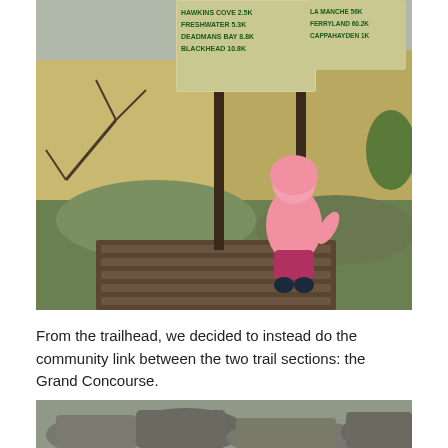[Figure (photo): A small child in a pink raincoat and dark pink pants with dark boots stands on a wooden boardwalk trail, facing away from the camera toward trail signs mounted on wooden posts. The landscape shows dry golden grass and green patches. The signs indicate distances to locations including Freshwater 5.3K, Deadmans Bay 8.8K, Blackhead 10.8K, La Manche 56K, Ferryland 60.2K, Cappahayden 1K.]
From the trailhead, we decided to instead do the community link between the two trail sections: the Grand Concourse.
[Figure (photo): Partial view of a rocky outdoor landscape, showing large stones or boulders in a natural outdoor setting.]